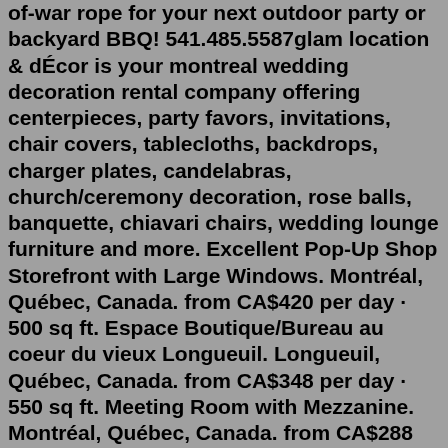of-war rope for your next outdoor party or backyard BBQ! 541.485.5587glam location & dÉcor is your montreal wedding decoration rental company offering centerpieces, party favors, invitations, chair covers, tablecloths, backdrops, charger plates, candelabras, church/ceremony decoration, rose balls, banquette, chiavari chairs, wedding lounge furniture and more. Excellent Pop-Up Shop Storefront with Large Windows. Montréal, Québec, Canada. from CA$420 per day · 500 sq ft. Espace Boutique/Bureau au coeur du vieux Longueuil. Longueuil, Québec, Canada. from CA$348 per day · 550 sq ft. Meeting Room with Mezzanine. Montréal, Québec, Canada. from CA$288 per day · 700 sq ft.glam location & dÉcor is your montreal wedding decoration rental company offering centerpieces, party favors, invitations, chair covers, tablecloths, backdrops, charger plates, candelabras, church/ceremony decoration, rose balls, banquette, chiavari chairs, wedding lounge furniture and more. from CA$384